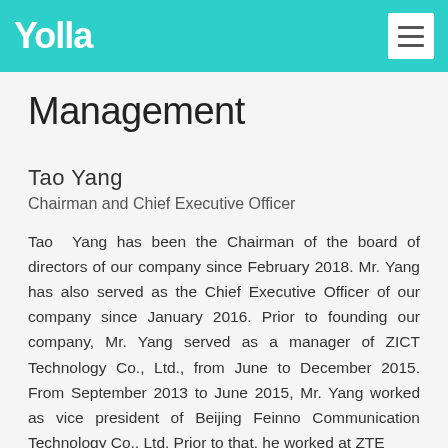Yalla
Management
Tao Yang
Chairman and Chief Executive Officer
Tao Yang has been the Chairman of the board of directors of our company since February 2018. Mr. Yang has also served as the Chief Executive Officer of our company since January 2016. Prior to founding our company, Mr. Yang served as a manager of ZICT Technology Co., Ltd., from June to December 2015. From September 2013 to June 2015, Mr. Yang worked as vice president of Beijing Feinno Communication Technology Co., Ltd. Prior to that, he worked at ZTE